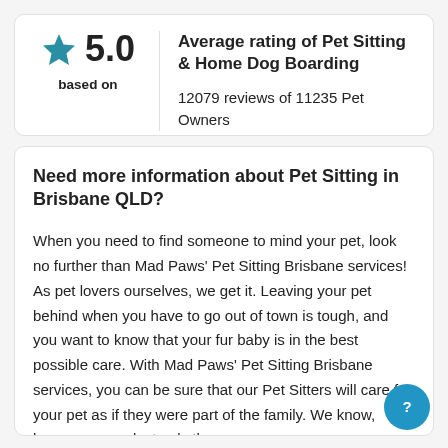[Figure (infographic): Teal star icon with rating 5.0, 'based on' label on left; 'Average rating of Pet Sitting & Home Dog Boarding' title and '12079 reviews of 11235 Pet Owners' on right]
Need more information about Pet Sitting in Brisbane QLD?
When you need to find someone to mind your pet, look no further than Mad Paws' Pet Sitting Brisbane services! As pet lovers ourselves, we get it. Leaving your pet behind when you have to go out of town is tough, and you want to know that your fur baby is in the best possible care. With Mad Paws' Pet Sitting Brisbane services, you can be sure that our Pet Sitters will care for your pet as if they were part of the family. We know, because we select only the